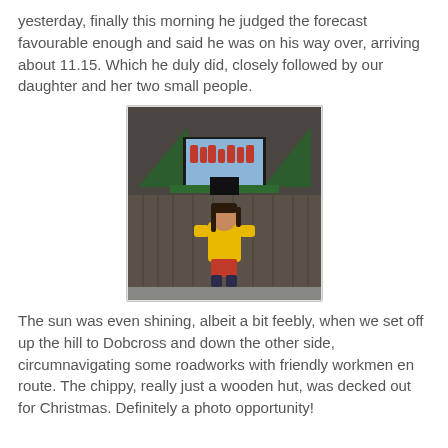yesterday, finally this morning he judged the forecast favourable enough and said he was on his way over, arriving about 11.15. Which he duly did, closely followed by our daughter and her two small people.
[Figure (photo): A child wearing a yellow puffer jacket standing in front of a wooden hut decorated for Christmas with a green roof and festive imagery. There are orange square decorations on the wooden fence.]
The sun was even shining, albeit a bit feebly, when we set off up the hill to Dobcross and down the other side, circumnavigating some roadworks with friendly workmen en route. The chippy, really just a wooden hut, was decked out for Christmas. Definitely a photo opportunity!